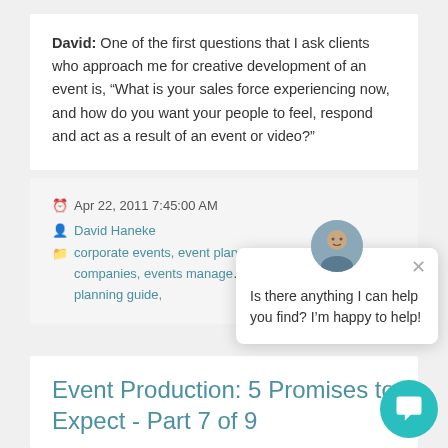David: One of the first questions that I ask clients who approach me for creative development of an event is, “What is your sales force experiencing now, and how do you want your people to feel, respond and act as a result of an event or video?”
Apr 22, 2011 7:45:00 AM
David Haneke
corporate events, event planning, event management companies, events manage... free event planning guide,
[Figure (screenshot): Chat popup with avatar photo of a man, close button, and text: Is there anything I can help you find? I’m happy to help!]
Event Production: 5 Promises to Expect - Part 7 of 9